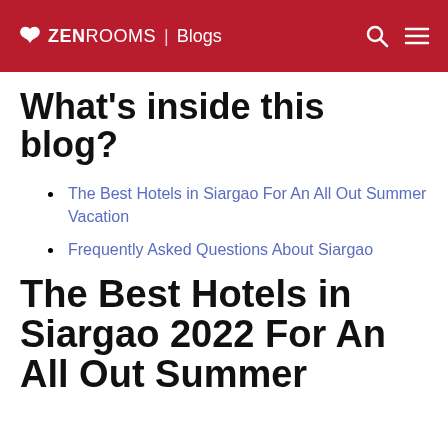ZEN ROOMS | Blogs
What's inside this blog?
The Best Hotels in Siargao For An All Out Summer Vacation
Frequently Asked Questions About Siargao
The Best Hotels in Siargao 2022 For An All Out Summer